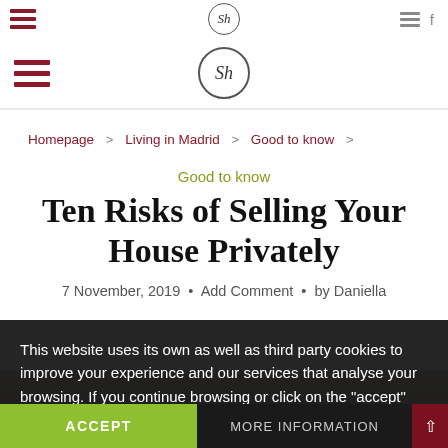Sh
Sh
Homepage > Living in Madrid > Good to know >
Good to know
Ten Risks of Selling Your House Privately
7 November, 2019 • Add Comment • by Daniella
This website uses its own as well as third party cookies to improve your experience and our services that analyse your browsing. If you continue browsing or click on the "accept" button you accept its use. You may prevent its installation, although it can cause navigational difficulties.
ACCEPT
MORE INFORMATION